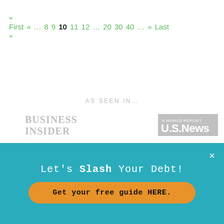« First « … 8 9 10 11 12 … 20 30 40 … » Last »
AS SEEN IN…
[Figure (logo): Business Insider logo in gray]
[Figure (logo): U.S. News & World Report logo in gray box]
[Figure (logo): Clark logo with C icon in gray]
[Figure (logo): MarketWatch logo in gray italic]
[Figure (logo): TIME magazine logo in gray]
[Figure (logo): The Motley Fool logo in gray]
Let's Slash Your Debt!
Get your free guide HERE.